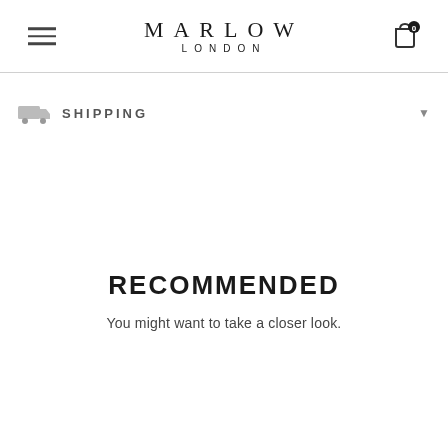MARLOW LONDON
SHIPPING
RECOMMENDED
You might want to take a closer look.